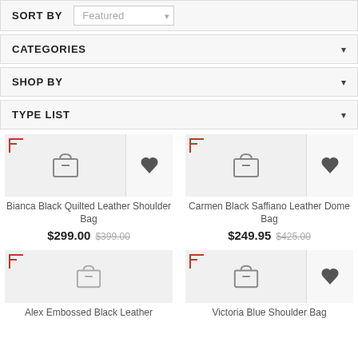SORT BY Featured
CATEGORIES
SHOP BY
TYPE LIST
Bianca Black Quilted Leather Shoulder Bag
$299.00 $399.00
Carmen Black Saffiano Leather Dome Bag
$249.95 $425.00
Alex Embossed Black Leather
Victoria Blue Shoulder Bag